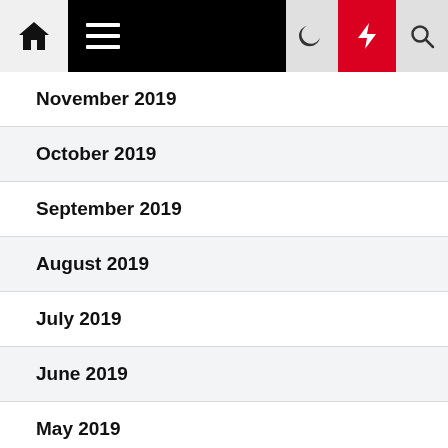Navigation bar with home, menu, moon, lightning, and search icons
November 2019
October 2019
September 2019
August 2019
July 2019
June 2019
May 2019
April 2019
March 2019